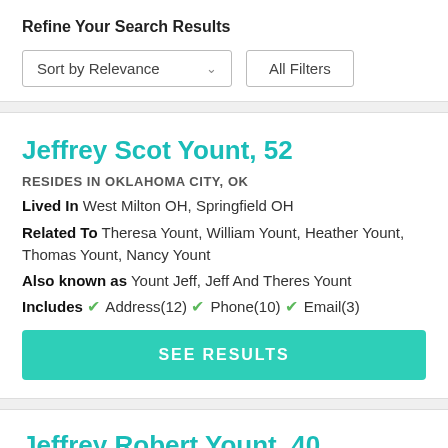Refine Your Search Results
Sort by Relevance  ∨   All Filters
Jeffrey Scot Yount, 52
RESIDES IN OKLAHOMA CITY, OK
Lived In West Milton OH, Springfield OH
Related To Theresa Yount, William Yount, Heather Yount, Thomas Yount, Nancy Yount
Also known as Yount Jeff, Jeff And Theres Yount
Includes ✓ Address(12) ✓ Phone(10) ✓ Email(3)
SEE RESULTS
Jeffrey Robert Yount, 40